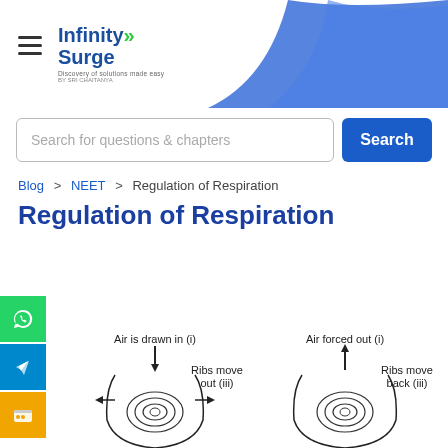Infinity Surge - by Sri Chaitanya
Search for questions & chapters
Search
Blog > NEET > Regulation of Respiration
Regulation of Respiration
[Figure (illustration): Two anatomical diagrams showing breathing mechanics. Left diagram: 'Air is drawn in (i)' with downward arrow, 'Ribs move out (iii)'. Right diagram: 'Air forced out (i)' with upward arrow, 'Ribs move back (iii)'. Both show cross-sections of a human thorax.]